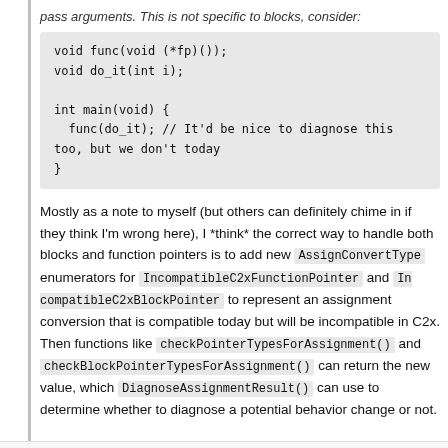pass arguments. This is not specific to blocks, consider:
void func(void (*fp)());
void do_it(int i);

int main(void) {
  func(do_it); // It'd be nice to diagnose this too, but we don't today
}
Mostly as a note to myself (but others can definitely chime in if they think I'm wrong here), I *think* the correct way to handle both blocks and function pointers is to add new AssignConvertType enumerators for IncompatibleC2xFunctionPointer and IncompatibleC2xBlockPointer to represent an assignment conversion that is compatible today but will be incompatible in C2x. Then functions like checkPointerTypesForAssignment() and checkBlockPointerTypesForAssignment() can return the new value, which DiagnoseAssignmentResult() can use to determine whether to diagnose a potential behavior change or not.